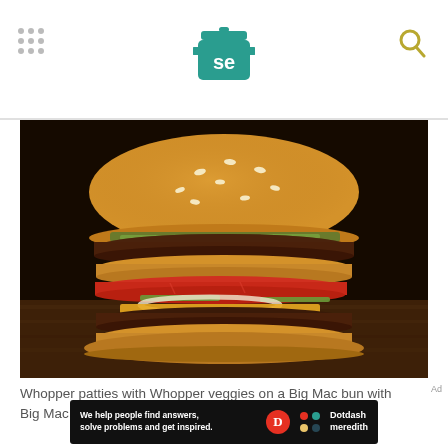[Figure (logo): Serious Eats logo — a teal cooking pot with 'se' text inside, and a grid of dots on the left, a search magnifier icon on the right]
[Figure (photo): A large double-decker burger with sesame seed bun, two beef patties, tomato slices, pickles, onions, cheese, and sauce on a dark wooden surface]
Whopper patties with Whopper veggies on a Big Mac bun with Big Mac sauce and cheese.
Ad
[Figure (infographic): Dotdash Meredith advertisement banner: 'We help people find answers, solve problems and get inspired.' with Dotdash Meredith logo]